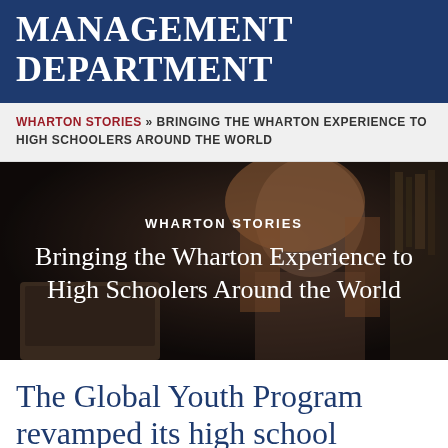MANAGEMENT DEPARTMENT
WHARTON STORIES » BRINGING THE WHARTON EXPERIENCE TO HIGH SCHOOLERS AROUND THE WORLD
[Figure (photo): Young woman with long brown hair looking down at a laptop, photographed in a dimly lit library setting. Overlaid text reads 'WHARTON STORIES' and 'Bringing the Wharton Experience to High Schoolers Around the World'.]
The Global Youth Program revamped its high school